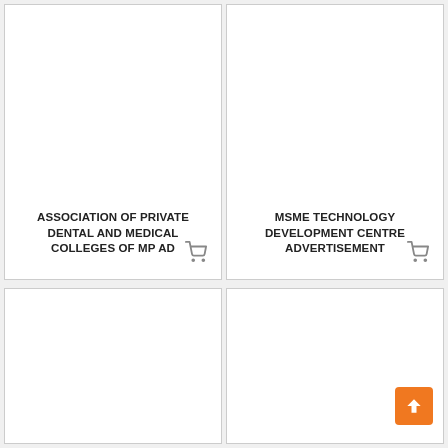[Figure (other): Card with blank image area (top-left)]
ASSOCIATION OF PRIVATE DENTAL AND MEDICAL COLLEGES OF MP AD
[Figure (other): Card with MSME TECHNOLOGY DEVELOPMENT CENTRE ADVERTISEMENT text and shopping cart icon (top-right)]
MSME TECHNOLOGY DEVELOPMENT CENTRE ADVERTISEMENT
[Figure (other): Card with blank image area (bottom-left)]
[Figure (other): Card with blank image area (bottom-right) and back-to-top button]